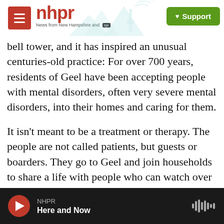NHPR — News from New Hampshire and NPR
bell tower, and it has inspired an unusual centuries-old practice: For over 700 years, residents of Geel have been accepting people with mental disorders, often very severe mental disorders, into their homes and caring for them.
It isn't meant to be a treatment or therapy. The people are not called patients, but guests or boarders. They go to Geel and join households to share a life with people who can watch over them. Today, there are about 250 boarders in Geel. One of them is a Flemish man named Luc Ennekans. He's slim and has green eyes, and he's 51 years
NHPR — Here and Now